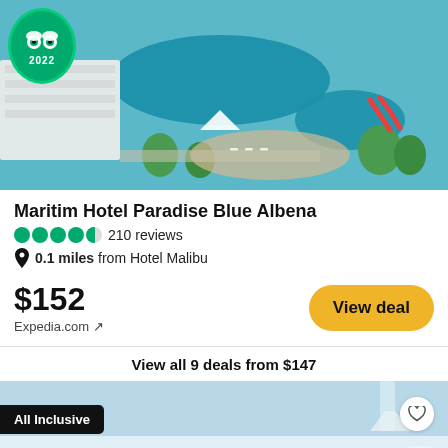[Figure (photo): Aerial view of Maritim Hotel Paradise Blue Albena with pools and water park, TripAdvisor 2022 award badge overlay]
Maritim Hotel Paradise Blue Albena
4.5 stars · 210 reviews
0.1 miles from Hotel Malibu
$152 Expedia.com ↗ View deal
View all 9 deals from $147
[Figure (photo): Hotel room interior photo with All Inclusive badge and heart/favorite button]
Agoda.com ↗ $155 View deal